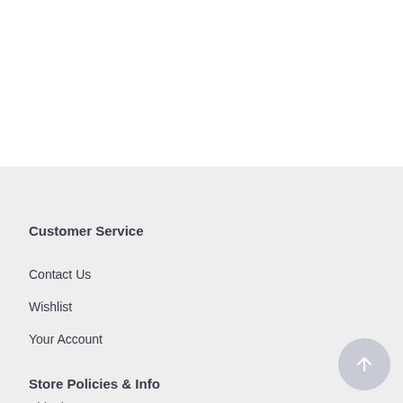Customer Service
Contact Us
Wishlist
Your Account
Store Policies & Info
Shipping